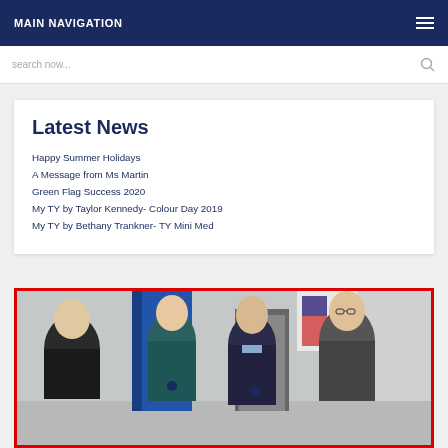MAIN NAVIGATION
search now...
Latest News
Happy Summer Holidays
A Message from Ms Martin
Green Flag Success 2020
My TY by Taylor Kennedy- Colour Day 2019
My TY by Bethany Trankner- TY Mini Med
[Figure (photo): Four people (an adult and three teenage boys) standing together indoors in what appears to be a school corridor. The adult is on the left wearing a dark jacket; the three students are wearing school uniforms and casual outerwear. A red border frames the photo.]